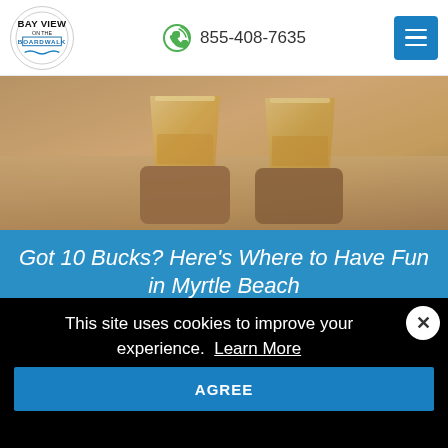[Figure (logo): Bay View on the Boardwalk circular logo with blue text]
855-408-7635
[Figure (photo): Two whiskey glasses on wooden coasters on a bar surface, warm amber tones]
Got 10 Bucks? Here's Where to Have Fun in Myrtle Beach
You don't have to spend a fortune to have fun in Myrtle Beach. There are Grand Strand options that don't have to sop up all your vacation budget. In fact, if you have $10, you're golden. There are enough low-cost activities to fill up your getaway itinerary. Plus, it costs nothing to chill poolside with a good read, right? 6…
This site uses cookies to improve your experience.  Learn More
AGREE